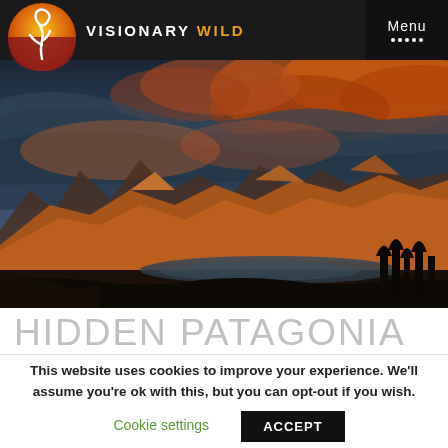VISIONARY WILD — Menu
[Figure (photo): Dramatic landscape photo of Patagonia: mountains lit orange-red by sunset light under a stormy blue-grey sky with dramatic clouds, a lake in the foreground, and dark foreground vegetation.]
HIDDEN PATAGONIA
This website uses cookies to improve your experience. We'll assume you're ok with this, but you can opt-out if you wish.
Cookie settings   ACCEPT